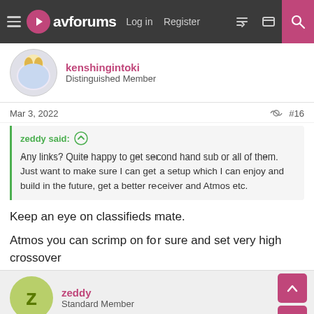avforums  Log in  Register
kenshingintoki
Distinguished Member
Mar 3, 2022  #16
zeddy said:
Any links? Quite happy to get second hand sub or all of them. Just want to make sure I can get a setup which I can enjoy and build in the future, get a better receiver and Atmos etc.
Keep an eye on classifieds mate.

Atmos you can scrimp on for sure and set very high crossover
zeddy
Standard Member
Mar 3, 2022  #17